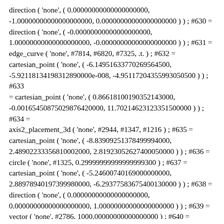direction ( 'none', ( 0.00000000000000000000, -1.00000000000000000000, 0.00000000000000000000 ) ) ; #630 = direction ( 'none', ( -0.00000000000000000000, 1.00000000000000000000, -0.00000000000000000000 ) ) ; #631 = edge_curve ( 'none', #7814, #6820, #7325, .t. ) ; #632 = cartesian_point ( 'none', ( -6.14951633770269564500, -5.92118134198312890000e-008, -4.95117204355993050000 ) ) ; #633 = cartesian_point ( 'none', ( 0.86618100190352143000, -0.00165450875029876420000, 11.70214623123351500000 ) ) ; #634 = axis2_placement_3d ( 'none', #2944, #1347, #1216 ) ; #635 = cartesian_point ( 'none', ( -8.83909251378499940000, 2.48902233356810002000, 2.81923052627400050000 ) ) ; #636 = circle ( 'none', #1325, 0.29999999999999999300 ) ; #637 = cartesian_point ( 'none', ( -5.24600740169000000000, 2.88978940197399980000, -6.29377583675400130000 ) ) ; #638 = direction ( 'none', ( 0.00000000000000000000, 0.00000000000000000000, 1.00000000000000000000 ) ) ; #639 = vector ( 'none', #2786, 1000.00000000000000000 ) ; #640 = direction ( 'none', ( 0.00000000000000000000, -3.59252937710452860000e-009, -1.00000000000000000000 ) ) ; #641 = cartesian_point ( 'none', ( -11.54031290782736200, 2.67316500963920310000e-007, -4.10661184356965770000 ) ) ; #642 = advanced_face ( 'none', ( #3867 ), #6232, .t. ) ; #643 = oriented_edge ( 'none', *, *, #8727, .t. ) ; #644 = approval_status ( 'not_yet_approved' ) ; #645 = cartesian_point ( 'none', ( 0.00000000000000000000,